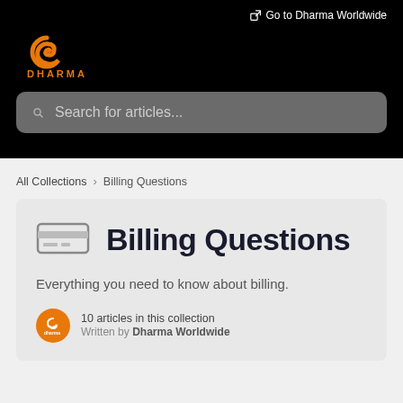Go to Dharma Worldwide
[Figure (logo): Dharma logo - orange D symbol with DHARMA text below]
Search for articles...
All Collections > Billing Questions
Billing Questions
Everything you need to know about billing.
10 articles in this collection
Written by Dharma Worldwide